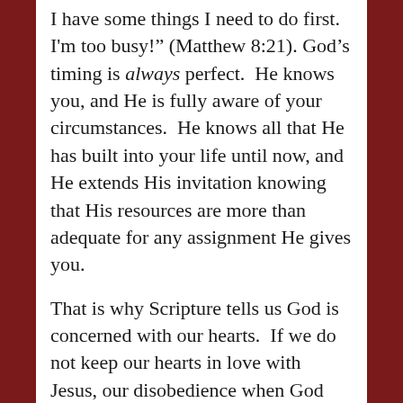I have some things I need to do first. I'm too busy!" (Matthew 8:21). God's timing is always perfect. He knows you, and He is fully aware of your circumstances. He knows all that He has built into your life until now, and He extends His invitation knowing that His resources are more than adequate for any assignment He gives you.
That is why Scripture tells us God is concerned with our hearts. If we do not keep our hearts in love with Jesus, our disobedience when God speaks could affect the lives of others. When